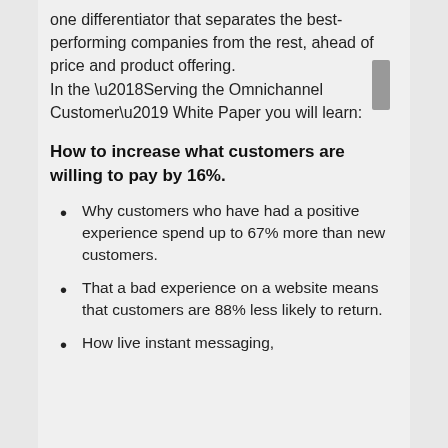one differentiator that separates the best-performing companies from the rest, ahead of price and product offering.
In the ‘Serving the Omnichannel Customer’ White Paper you will learn:
How to increase what customers are willing to pay by 16%.
Why customers who have had a positive experience spend up to 67% more than new customers.
That a bad experience on a website means that customers are 88% less likely to return.
How live instant messaging,